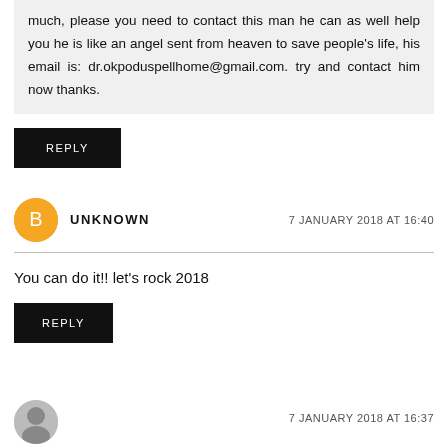much, please you need to contact this man he can as well help you he is like an angel sent from heaven to save people's life, his email is: dr.okpoduspellhome@gmail.com. try and contact him now thanks.
REPLY
UNKNOWN
7 JANUARY 2018 AT 16:40
You can do it!! let's rock 2018
REPLY
7 JANUARY 2018 AT 16:37